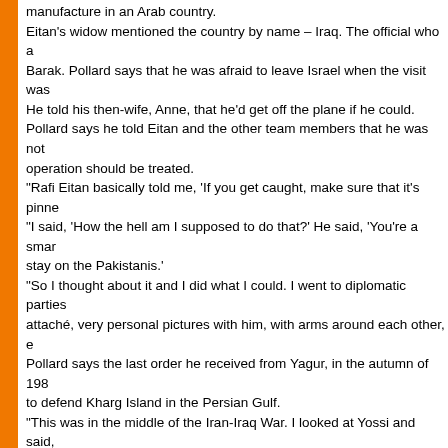manufacture in an Arab country. Eitan's widow mentioned the country by name – Iraq. The official who a Barak. Pollard says that he was afraid to leave Israel when the visit was He told his then-wife, Anne, that he'd get off the plane if he could. Pollard says he told Eitan and the other team members that he was not operation should be treated. "Rafi Eitan basically told me, 'If you get caught, make sure that it's pinne "I said, 'How the hell am I supposed to do that?' He said, 'You're a smar stay on the Pakistanis.' "So I thought about it and I did what I could. I went to diplomatic parties attaché, very personal pictures with him, with arms around each other, e Pollard says the last order he received from Yagur, in the autumn of 198 to defend Kharg Island in the Persian Gulf. "This was in the middle of the Iran-Iraq War. I looked at Yossi and said, introduced to the arms-per-hostages deal that was then being conducte
'Water the cactus'
In the fall of 1985, the noose around Pollard began to tighten. His work suspicious circumstances, and they began to wonder about it. He worke "About a week before I was arrested, I noticed lots of strange things hap double cipher lock safe, and it was open. My desk was in disarray and I about the whole thing, [said] 'Don't worry about it.' I was greatly trouble "That night I came back very late to the office. We were always working made me do it, but I did. And I moved the tile, the acoustic tile, and ther left. And I had a hard talk with myself driving home. "Part of my brain said 'Run, now, run.' I had the ability to do it at that poi information, the one they asked for at the embassy.' "And I said I thought I could run that risk. That was a very tragic mistake